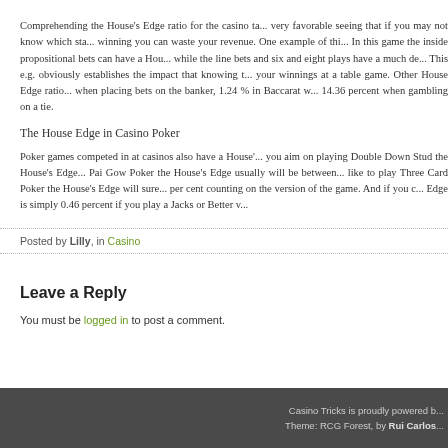Comprehending the House's Edge ratio for the casino table game can be very favorable seeing that if you may not know which stakes are worth winning you can waste your revenue. One example of this is Craps. In this game the inside propositional bets can have a House's Edge while the line bets and six and eight plays have a much de... This e.g. obviously establishes the impact that knowing the House's... your winnings at a table game. Other House Edge ratios... when placing bets on the banker, 1.24 % in Baccarat w... 14.36 percent when gambling on a tie.
The House Edge in Casino Poker
Poker games competed in at casinos also have a House'... you aim on playing Double Down Stud the House's Edge... Pai Gow Poker the House's Edge usually will be between... like to play Three Card Poker the House's Edge will sure... per cent counting on the version of the game. And if you d... Edge is simply 0.46 percent if you play a Jacks or Better v...
Posted by Lilly, in Casino
Leave a Reply
You must be logged in to post a comment.
Casino Tricks is proudly powered b... Theme: RCG Forest, by Rui Carlos...